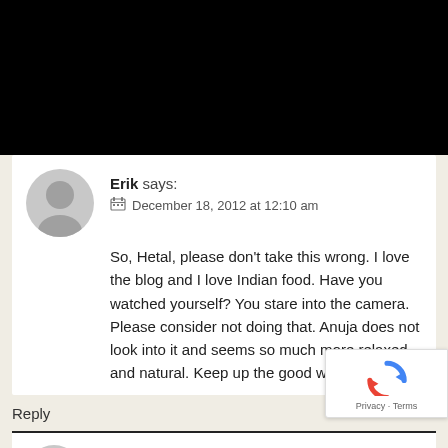[Figure (other): Black bar at top of page]
Erik says:
📅 December 18, 2012 at 12:10 am
So, Hetal, please don't take this wrong. I love the blog and I love Indian food. Have you watched yourself? You stare into the camera. Please consider not doing that. Anuja does not look into it and seems so much more relaxed and natural. Keep up the good work.
Reply
hetal says: